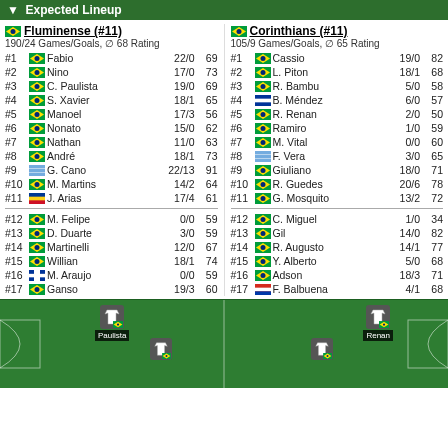Expected Lineup
| # | Flag | Name | Stats | Rating |
| --- | --- | --- | --- | --- |
| Fluminense (#11) |  |  |  |  |
| 190/24 Games/Goals, ∅ 68 Rating |  |  |  |  |
| #1 | BR | Fabio | 22/0 | 69 |
| #2 | BR | Nino | 17/0 | 73 |
| #3 | BR | C. Paulista | 19/0 | 69 |
| #4 | BR | S. Xavier | 18/1 | 65 |
| #5 | BR | Manoel | 17/3 | 56 |
| #6 | BR | Nonato | 15/0 | 62 |
| #7 | BR | Nathan | 11/0 | 63 |
| #8 | BR | André | 18/1 | 73 |
| #9 | AR | G. Cano | 22/13 | 91 |
| #10 | BR | M. Martins | 14/2 | 64 |
| #11 | CO | J. Arias | 17/4 | 61 |
| #12 | BR | M. Felipe | 0/0 | 59 |
| #13 | BR | D. Duarte | 3/0 | 59 |
| #14 | BR | Martinelli | 12/0 | 67 |
| #15 | BR | Willian | 18/1 | 74 |
| #16 | UY | M. Araujo | 0/0 | 59 |
| #17 | BR | Ganso | 19/3 | 60 |
| # | Flag | Name | Stats | Rating |
| --- | --- | --- | --- | --- |
| Corinthians (#11) |  |  |  |  |
| 105/9 Games/Goals, ∅ 65 Rating |  |  |  |  |
| #1 | BR | Cassio | 19/0 | 82 |
| #2 | BR | L. Piton | 18/1 | 68 |
| #3 | BR | R. Bambu | 5/0 | 58 |
| #4 | UY | B. Méndez | 6/0 | 57 |
| #5 | BR | R. Renan | 2/0 | 50 |
| #6 | BR | Ramiro | 1/0 | 59 |
| #7 | BR | M. Vital | 0/0 | 60 |
| #8 | AR | F. Vera | 3/0 | 65 |
| #9 | BR | Giuliano | 18/0 | 71 |
| #10 | BR | R. Guedes | 20/6 | 78 |
| #11 | BR | G. Mosquito | 13/2 | 72 |
| #12 | BR | C. Miguel | 1/0 | 34 |
| #13 | BR | Gil | 14/0 | 82 |
| #14 | BR | R. Augusto | 14/1 | 77 |
| #15 | BR | Y. Alberto | 5/0 | 68 |
| #16 | BR | Adson | 18/3 | 71 |
| #17 | PY | F. Balbuena | 4/1 | 68 |
[Figure (illustration): Football pitch diagram showing partial player formation for both teams. Paulista and Renan are visible as player tokens on a green pitch.]